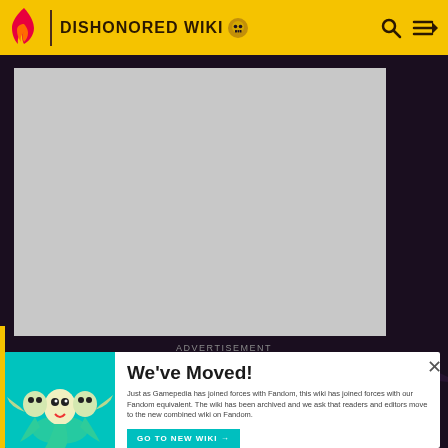DISHONORED WIKI
[Figure (screenshot): Advertisement placeholder area - gray rectangle]
ADVERTISEMENT
MORE INFORMATION
[Figure (illustration): Teal/cyan background with cartoon multi-headed monster creature illustration]
We've Moved!
Just as Gamepedia has joined forces with Fandom, this wiki has joined forces with our Fandom equivalent. The wiki has been archived and we ask that readers and editors move to the new combined wiki on Fandom.
GO TO NEW WIKI →